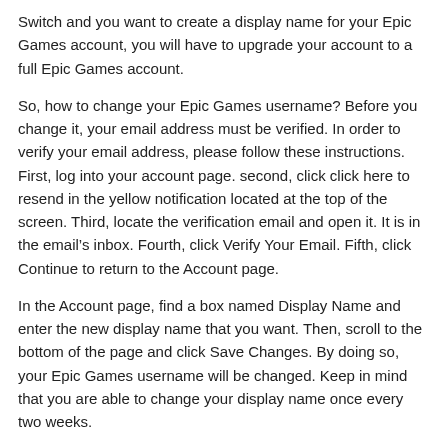Switch and you want to create a display name for your Epic Games account, you will have to upgrade your account to a full Epic Games account.
So, how to change your Epic Games username? Before you change it, your email address must be verified. In order to verify your email address, please follow these instructions. First, log into your account page. second, click click here to resend in the yellow notification located at the top of the screen. Third, locate the verification email and open it. It is in the email's inbox. Fourth, click Verify Your Email. Fifth, click Continue to return to the Account page.
In the Account page, find a box named Display Name and enter the new display name that you want. Then, scroll to the bottom of the page and click Save Changes. By doing so, your Epic Games username will be changed. Keep in mind that you are able to change your display name once every two weeks.